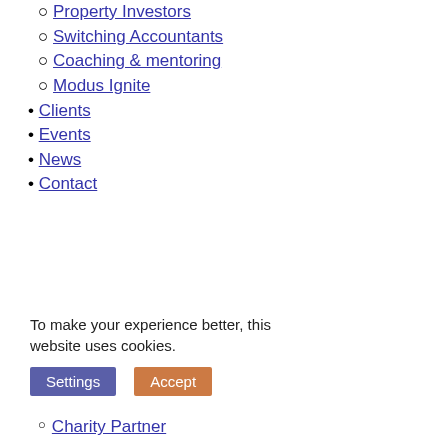Property Investors
Switching Accountants
Coaching & mentoring
Modus Ignite
Clients
Events
News
Contact
To make your experience better, this website uses cookies.
Charity Partner